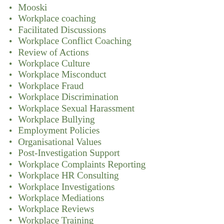Mooski
Workplace coaching
Facilitated Discussions
Workplace Conflict Coaching
Review of Actions
Workplace Culture
Workplace Misconduct
Workplace Fraud
Workplace Discrimination
Workplace Sexual Harassment
Workplace Bullying
Employment Policies
Organisational Values
Post-Investigation Support
Workplace Complaints Reporting
Workplace HR Consulting
Workplace Investigations
Workplace Mediations
Workplace Reviews
Workplace Training